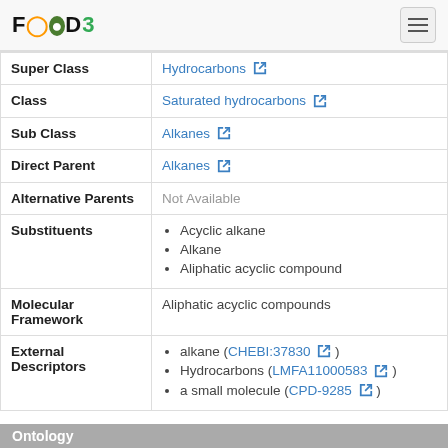FoodB logo and navigation
| Field | Value |
| --- | --- |
| Super Class | Hydrocarbons |
| Class | Saturated hydrocarbons |
| Sub Class | Alkanes |
| Direct Parent | Alkanes |
| Alternative Parents | Not Available |
| Substituents | Acyclic alkane
Alkane
Aliphatic acyclic compound |
| Molecular Framework | Aliphatic acyclic compounds |
| External Descriptors | alkane (CHEBI:37830)
Hydrocarbons (LMFA11000583)
a small molecule (CPD-9285) |
Ontology